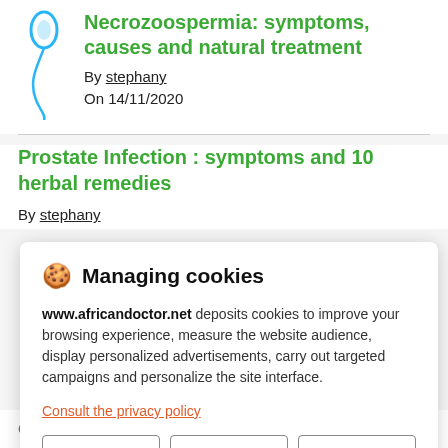Necrozoospermia: symptoms, causes and natural treatment
By stephany
On 14/11/2020
Prostate Infection : symptoms and 10 herbal remedies
By stephany
🍪 Managing cookies
www.africandoctor.net deposits cookies to improve your browsing experience, measure the website audience, display personalized advertisements, carry out targeted campaigns and personalize the site interface.
Consult the privacy policy
Refuse | Settings | Accept
On 12/11/2020